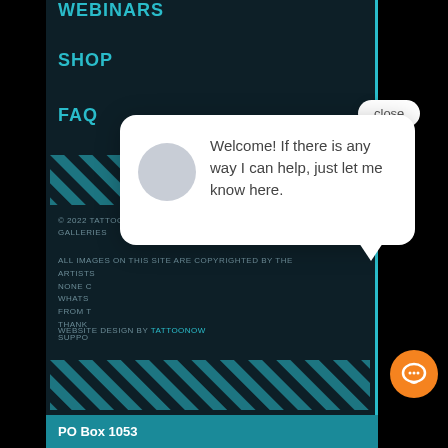WEBINARS
SHOP
FAQ
[Figure (illustration): Diagonal teal stripe divider pattern]
© 2022 TATTOONOW - YOUR SOURCE FOR CUSTOM TATTOO GALLERIES
ALL IMAGES ON THIS SITE ARE COPYRIGHTED BY THE ARTISTS
NONE CAN BE USED
WHATSOEVER
FROM THIS SITE
THANK YOU FOR YOUR
SUPPORT
WEBSITE DESIGN BY TATTOONOW
[Figure (illustration): Diagonal teal stripe divider pattern bottom]
[Figure (screenshot): Chat popup bubble with welcome message: Welcome! If there is any way I can help, just let me know here. With close button and orange chat icon.]
PO Box 1053